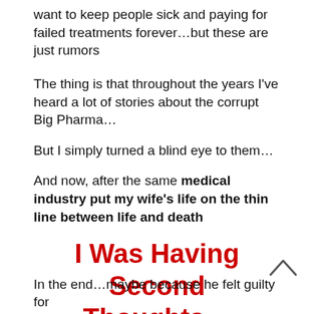want to keep people sick and paying for failed treatments forever…but these are just rumors
The thing is that throughout the years I've heard a lot of stories about the corrupt Big Pharma…
But I simply turned a blind eye to them…
And now, after the same medical industry put my wife's life on the thin line between life and death
I Was Having Second Thoughts…
In the end…maybe because he felt guilty for